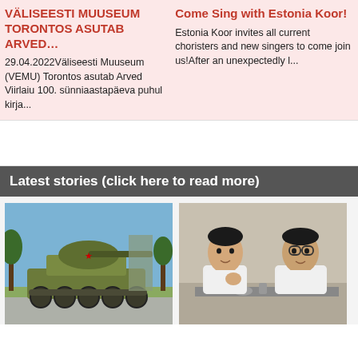VÄLISEESTI MUUSEUM TORONTOS ASUTAB ARVED…
29.04.2022Väliseesti Muuseum (VEMU) Torontos asutab Arved Viirlaiu 100. sünniaastapäeva puhul kirja...
Come Sing with Estonia Koor!
Estonia Koor invites all current choristers and new singers to come join us!After an unexpectedly l...
Latest stories (click here to read more)
[Figure (photo): A Soviet-era military tank (T-34) on display outdoors with trees in background]
[Figure (photo): Black and white photo of two men sitting together, one with glasses]